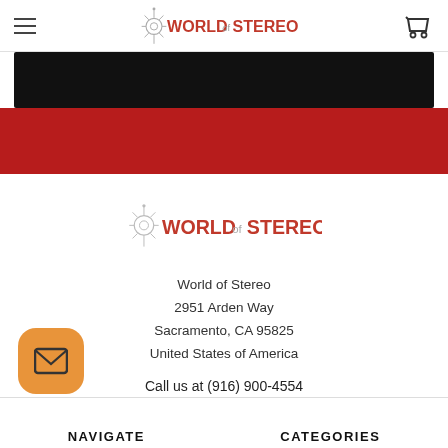World of Stereo — hamburger menu, logo, cart icon
[Figure (screenshot): Black banner image strip at top of page content area]
[Figure (illustration): Red promotional banner below black banner]
[Figure (logo): World of Stereo logo centered in content area]
World of Stereo
2951 Arden Way
Sacramento, CA 95825
United States of America

Call us at (916) 900-4554
[Figure (illustration): Orange rounded envelope/email button icon]
NAVIGATE
CATEGORIES